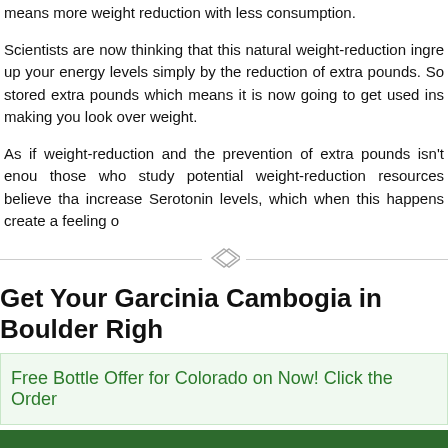means more weight reduction with less consumption.
Scientists are now thinking that this natural weight-reduction ingredient can boost up your energy levels simply by the reduction of extra pounds. So your body's stored extra pounds which means it is now going to get used instead of just making you look over weight.
As if weight-reduction and the prevention of extra pounds isn't enough, those who study potential weight-reduction resources believe that it can increase Serotonin levels, which when this happens create a feeling of...
Get Your Garcinia Cambogia in Boulder Right
Free Bottle Offer for Colorado on Now! Click the Order
Testimonial
Works Great, Thank you for the fast delivery to Boulder CO, this Select product w... Robert L. Boulder CO